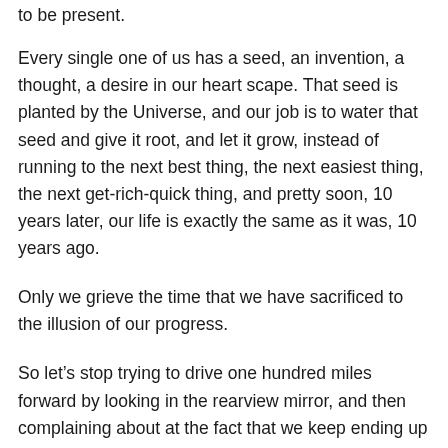to be present.
Every single one of us has a seed, an invention, a thought, a desire in our heart scape. That seed is planted by the Universe, and our job is to water that seed and give it root, and let it grow, instead of running to the next best thing, the next easiest thing, the next get-rich-quick thing, and pretty soon, 10 years later, our life is exactly the same as it was, 10 years ago.
Only we grieve the time that we have sacrificed to the illusion of our progress.
So let’s stop trying to drive one hundred miles forward by looking in the rearview mirror, and then complaining about at the fact that we keep ending up in the ditch.
And writing blogs about “ditch life”.